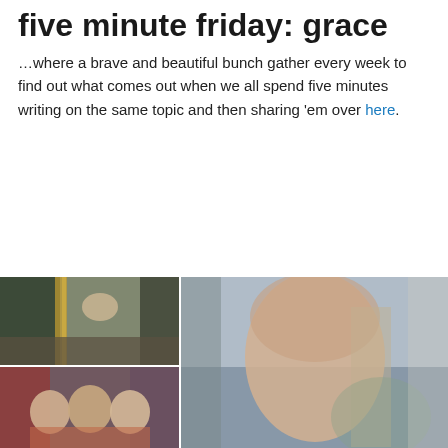five minute friday: grace
…where a brave and beautiful bunch gather every week to find out what comes out when we all spend five minutes writing on the same topic and then sharing 'em over here.
[Figure (photo): Children running down an outdoor corridor with colorful wall]
[Figure (photo): Close-up of a young girl with long hair outdoors]
[Figure (photo): Three young children smiling with arms outstretched]
[Figure (photo): Toddler with red hair against yellow wall]
[Figure (photo): Young girl with red hair against yellow wall]